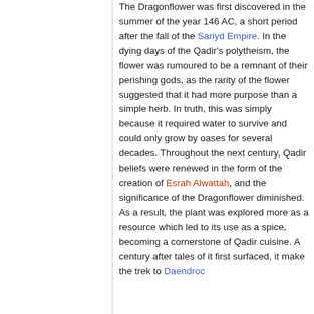The Dragonflower was first discovered in the summer of the year 146 AC, a short period after the fall of the Sariyd Empire. In the dying days of the Qadir's polytheism, the flower was rumoured to be a remnant of their perishing gods, as the rarity of the flower suggested that it had more purpose than a simple herb. In truth, this was simply because it required water to survive and could only grow by oases for several decades. Throughout the next century, Qadir beliefs were renewed in the form of the creation of Esrah Alwattah, and the significance of the Dragonflower diminished. As a result, the plant was explored more as a resource which led to its use as a spice, becoming a cornerstone of Qadir cuisine. A century after tales of it first surfaced, it make the trek to Daendroc